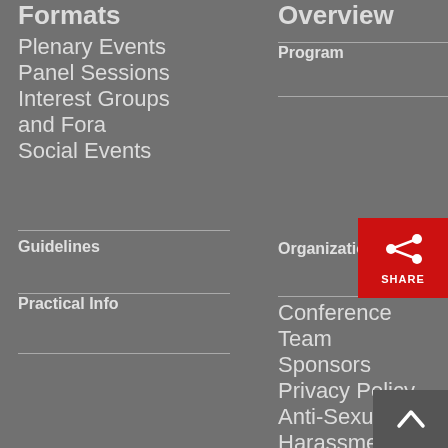Formats
Plenary Events
Panel Sessions
Interest Groups and Fora
Social Events
Guidelines
Practical Info
Overview
Program
Organization
Conference Team
Sponsors
Privacy Policy
Anti-Sexual Harassment Policy
[Figure (infographic): Red share button with share icon and SHARE label]
[Figure (infographic): Dark grey back-to-top button with upward chevron arrow]